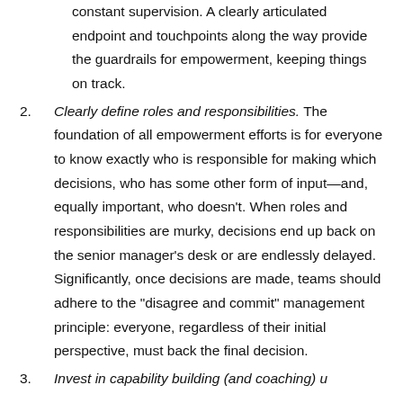constant supervision. A clearly articulated endpoint and touchpoints along the way provide the guardrails for empowerment, keeping things on track.
2. Clearly define roles and responsibilities. The foundation of all empowerment efforts is for everyone to know exactly who is responsible for making which decisions, who has some other form of input—and, equally important, who doesn't. When roles and responsibilities are murky, decisions end up back on the senior manager's desk or are endlessly delayed. Significantly, once decisions are made, teams should adhere to the "disagree and commit" management principle: everyone, regardless of their initial perspective, must back the final decision.
3. Invest in capability building (and coaching) un...